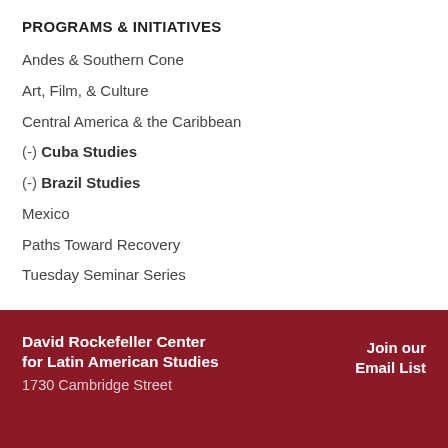PROGRAMS & INITIATIVES
Andes & Southern Cone
Art, Film, & Culture
Central America & the Caribbean
(-) Cuba Studies
(-) Brazil Studies
Mexico
Paths Toward Recovery
Tuesday Seminar Series
David Rockefeller Center for Latin American Studies
1730 Cambridge Street
Join our Email List